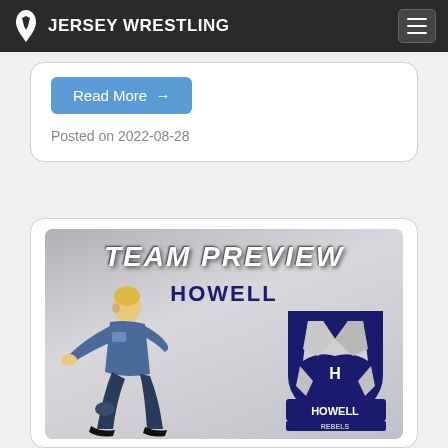JERSEY WRESTLING
Read More →
Posted on 2022-08-28
[Figure (photo): Team Preview Howell promotional image featuring a wrestler in action pose on the left and the Howell Rebels logo on the right, with 'Team Preview' text at top and 'Howell' subtitle beneath it.]